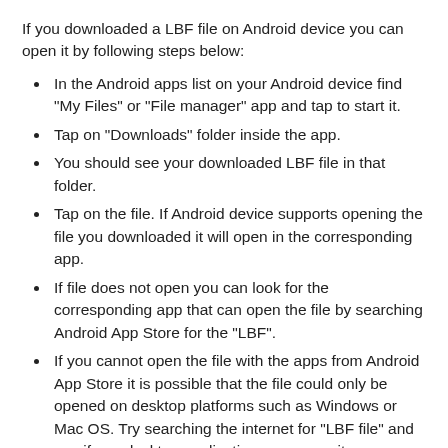If you downloaded a LBF file on Android device you can open it by following steps below:
In the Android apps list on your Android device find "My Files" or "File manager" app and tap to start it.
Tap on "Downloads" folder inside the app.
You should see your downloaded LBF file in that folder.
Tap on the file. If Android device supports opening the file you downloaded it will open in the corresponding app.
If file does not open you can look for the corresponding app that can open the file by searching Android App Store for the "LBF".
If you cannot open the file with the apps from Android App Store it is possible that the file could only be opened on desktop platforms such as Windows or Mac OS. Try searching the internet for "LBF file" and see if any desktop applications can open it.